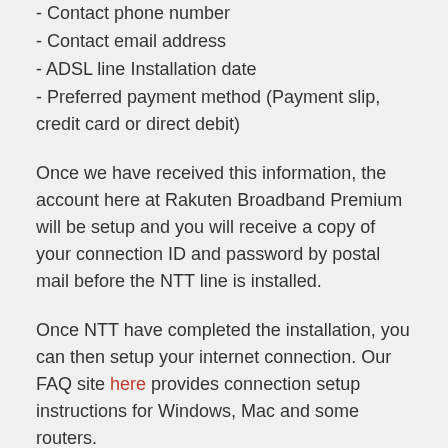- Contact phone number
- Contact email address
- ADSL line Installation date
- Preferred payment method (Payment slip, credit card or direct debit)
Once we have received this information, the account here at Rakuten Broadband Premium will be setup and you will receive a copy of your connection ID and password by postal mail before the NTT line is installed.
Once NTT have completed the installation, you can then setup your internet connection. Our FAQ site here provides connection setup instructions for Windows, Mac and some routers.
The Rakuten Broadband Premium service also provides an email account to you. If you would like to use this email